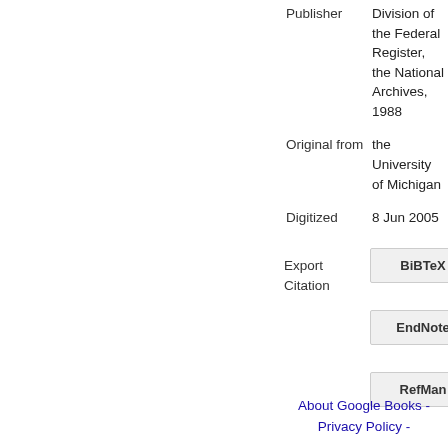| Field | Value |
| --- | --- |
| Publisher | Division of the Federal Register, the National Archives, 1988 |
| Original from | the University of Michigan |
| Digitized | 8 Jun 2005 |
Export Citation
BiBTeX
EndNote
RefMan
About Google Books - Privacy Policy -